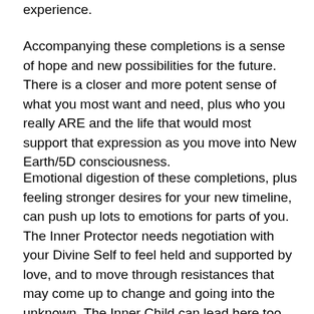experience.
Accompanying these completions is a sense of hope and new possibilities for the future. There is a closer and more potent sense of what you most want and need, plus who you really ARE and the life that would most support that expression as you move into New Earth/5D consciousness.
Emotional digestion of these completions, plus feeling stronger desires for your new timeline, can push up lots to emotions for parts of you. The Inner Protector needs negotiation with your Divine Self to feel held and supported by love, and to move through resistances that may come up to change and going into the unknown. The Inner Child can lead here too, with their natural essence expressing in joy, curiousity, and desire for adventure and Star Seed essence providing connection to galactic support. And the Inner Feminine can hold the space for